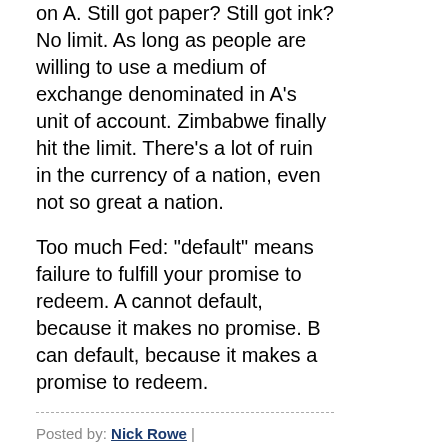on A. Still got paper? Still got ink? No limit. As long as people are willing to use a medium of exchange denominated in A's unit of account. Zimbabwe finally hit the limit. There's a lot of ruin in the currency of a nation, even not so great a nation.
Too much Fed: "default" means failure to fulfill your promise to redeem. A cannot default, because it makes no promise. B can default, because it makes a promise to redeem.
Posted by: Nick Rowe | October 30, 2009 at 01:01 AM